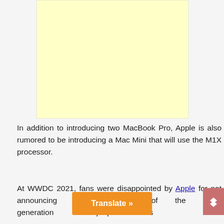[Figure (other): Light yellow advertisement placeholder box]
In addition to introducing two MacBook Pro, Apple is also rumored to be introducing a Mac Mini that will use the M1X processor.
At WWDC 2021, fans were disappointed by Apple for not announcing the presence of the latest generation laptops. In various